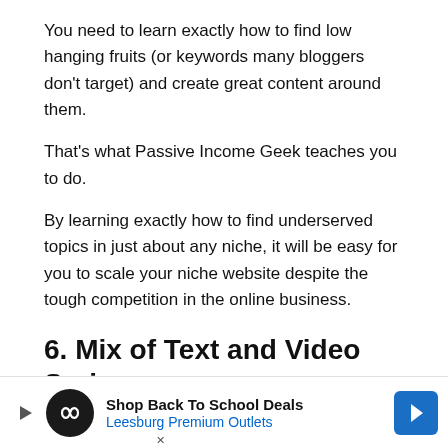You need to learn exactly how to find low hanging fruits (or keywords many bloggers don't target) and create great content around them.
That's what Passive Income Geek teaches you to do.
By learning exactly how to find underserved topics in just about any niche, it will be easy for you to scale your niche website despite the tough competition in the online business.
6. Mix of Text and Video Series
One thing I noticed about this course that's a little different from what you'll find in Project 24 is the mix of
[Figure (other): Advertisement banner for Shop Back To School Deals at Leesburg Premium Outlets with a circular logo, navigation arrow, play button, and close (X) button.]